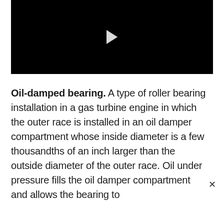[Figure (other): Black video player with a white play button triangle in the center]
Oil-damped bearing. A type of roller bearing installation in a gas turbine engine in which the outer race is installed in an oil damper compartment whose inside diameter is a few thousandths of an inch larger than the outside diameter of the outer race. Oil under pressure fills the oil damper compartment and allows the bearing to